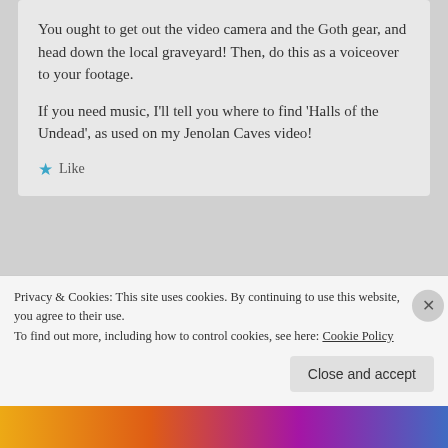You ought to get out the video camera and the Goth gear, and head down the local graveyard! Then, do this as a voiceover to your footage.

If you need music, I'll tell you where to find 'Halls of the Undead', as used on my Jenolan Caves video!
★ Like
paisley
March 9, 2008 at 12:15 pm
oh selma,, this is so wonderful,, and it gave me the
Privacy & Cookies: This site uses cookies. By continuing to use this website, you agree to their use.
To find out more, including how to control cookies, see here: Cookie Policy
Close and accept